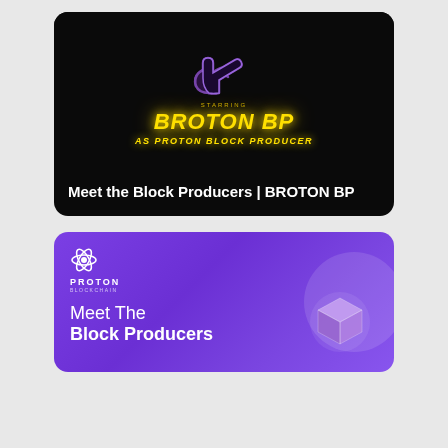[Figure (illustration): Black card with neon yellow text: STARRING BROTON BP AS PROTON BLOCK PRODUCER, with a purple shaka hand illustration above]
Meet the Block Producers | BROTON BP
[Figure (illustration): Purple gradient card with Proton Blockchain logo and text 'Meet The Block Producers' with a 3D purple cube illustration]